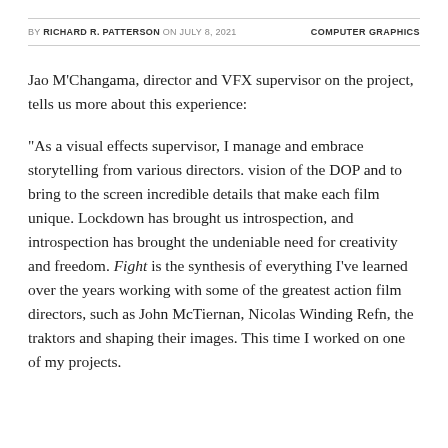BY RICHARD R. PATTERSON ON JULY 8, 2021   COMPUTER GRAPHICS
Jao M'Changama, director and VFX supervisor on the project, tells us more about this experience:
“As a visual effects supervisor, I manage and embrace storytelling from various directors. vision of the DOP and to bring to the screen incredible details that make each film unique. Lockdown has brought us introspection, and introspection has brought the undeniable need for creativity and freedom. Fight is the synthesis of everything I’ve learned over the years working with some of the greatest action film directors, such as John McTiernan, Nicolas Winding Refn, the traktors and shaping their images. This time I worked on one of my projects.